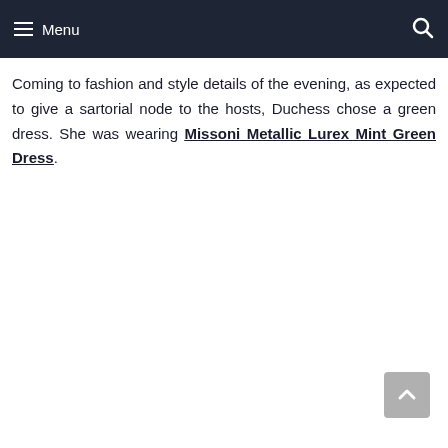Menu
Coming to fashion and style details of the evening, as expected to give a sartorial node to the hosts, Duchess chose a green dress. She was wearing Missoni Metallic Lurex Mint Green Dress.